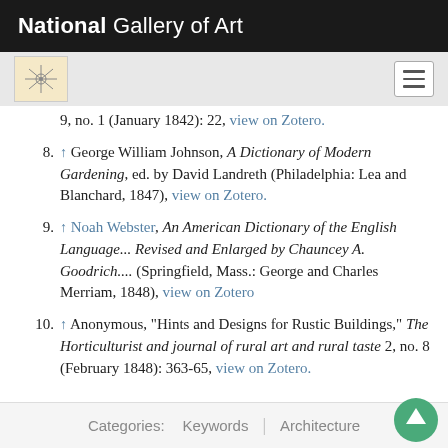National Gallery of Art
9, no. 1 (January 1842): 22, view on Zotero.
8. ↑ George William Johnson, A Dictionary of Modern Gardening, ed. by David Landreth (Philadelphia: Lea and Blanchard, 1847), view on Zotero.
9. ↑ Noah Webster, An American Dictionary of the English Language... Revised and Enlarged by Chauncey A. Goodrich.... (Springfield, Mass.: George and Charles Merriam, 1848), view on Zotero
10. ↑ Anonymous, "Hints and Designs for Rustic Buildings," The Horticulturist and journal of rural art and rural taste 2, no. 8 (February 1848): 363-65, view on Zotero.
Categories: Keywords | Architecture